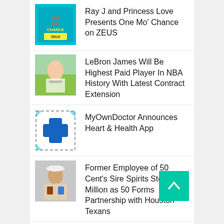Ray J and Princess Love Presents One Mo' Chance on ZEUS
LeBron James Will Be Highest Paid Player In NBA History With Latest Contract Extension
MyOwnDoctor Announces Heart & Health App
Former Employee of 50 Cent's Sire Spirits Stole $2.2 Million as 50 Forms Partnership with Houston Texans
'Rickey Smiley For Real' Returns November 15
WE OUTSIDE COMEDY TOUR Featuring